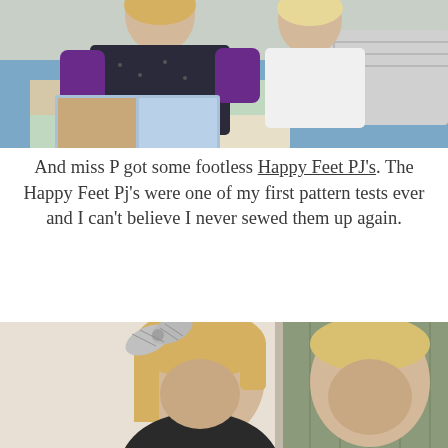[Figure (photo): Two children sitting on a bed reading a book. One child wearing a dark dotted shirt with purple sleeves, another in white. Blue quilt and gingham pillow visible.]
And miss P got some footless Happy Feet PJ's. The Happy Feet Pj's were one of my first pattern tests ever and I can't believe I never sewed them up again.
[Figure (photo): Two children side by side — a girl with a gingham bow in her hair looking down, and a boy with light hair, both partially visible from shoulders up.]